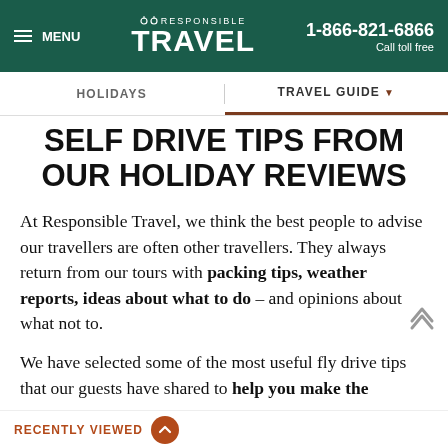≡ MENU | RESPONSIBLE TRAVEL | 1-866-821-6866 Call toll free
HOLIDAYS | TRAVEL GUIDE
SELF DRIVE TIPS FROM OUR HOLIDAY REVIEWS
At Responsible Travel, we think the best people to advise our travellers are often other travellers. They always return from our tours with packing tips, weather reports, ideas about what to do – and opinions about what not to.
We have selected some of the most useful fly drive tips that our guests have shared to help you make the